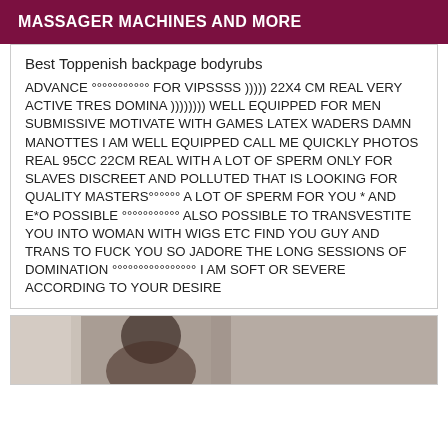MASSAGER MACHINES AND MORE
Best Toppenish backpage bodyrubs
ADVANCE °°°°°°°°°°° FOR VIPSSSS ))))) 22X4 CM REAL VERY ACTIVE TRES DOMINA )))))))) WELL EQUIPPED FOR MEN SUBMISSIVE MOTIVATE WITH GAMES LATEX WADERS DAMN MANOTTES I AM WELL EQUIPPED CALL ME QUICKLY PHOTOS REAL 95CC 22CM REAL WITH A LOT OF SPERM ONLY FOR SLAVES DISCREET AND POLLUTED THAT IS LOOKING FOR QUALITY MASTERS°°°°°° A LOT OF SPERM FOR YOU * AND E*O POSSIBLE °°°°°°°°°°° ALSO POSSIBLE TO TRANSVESTITE YOU INTO WOMAN WITH WIGS ETC FIND YOU GUY AND TRANS TO FUCK YOU SO JADORE THE LONG SESSIONS OF DOMINATION °°°°°°°°°°°°°°°° I AM SOFT OR SEVERE ACCORDING TO YOUR DESIRE
[Figure (photo): Partial photo of a person at the bottom of the page, cropped]